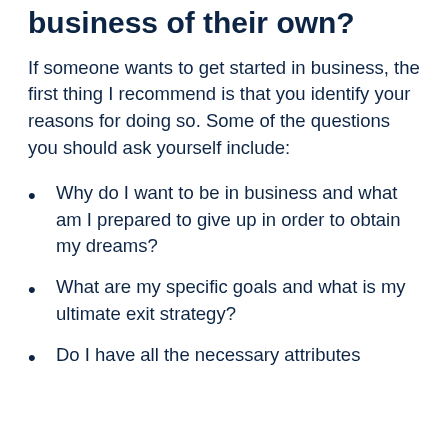business of their own?
If someone wants to get started in business, the first thing I recommend is that you identify your reasons for doing so. Some of the questions you should ask yourself include:
Why do I want to be in business and what am I prepared to give up in order to obtain my dreams?
What are my specific goals and what is my ultimate exit strategy?
Do I have all the necessary attributes